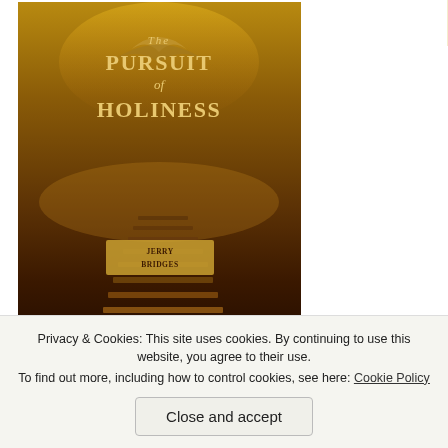[Figure (photo): Book cover of 'The Pursuit of Holiness' by Jerry Bridges, with golden/amber tones showing a staircase and tree imagery against a dark background]
[Figure (photo): Book cover of 'Signs of the Spirit' with an ornate decorative design in gold/cream tones, subtitle 'An Interpretation of...']
[Figure (screenshot): Yellow banner at top right with text 'Yet five b...' (truncated)]
Share this:
Twitter
Email
Facebook
LinkedIn
Print
Loading...
[Figure (screenshot): Dark navy advertisement banner with text 'course with' in teal and a 'Learn More' button in teal/green]
Privacy & Cookies: This site uses cookies. By continuing to use this website, you agree to their use.
To find out more, including how to control cookies, see here: Cookie Policy
Close and accept